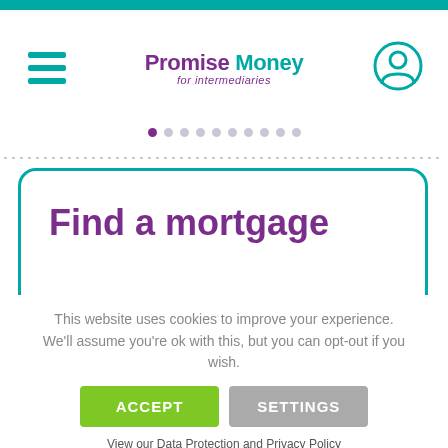[Figure (logo): Promise Money for intermediaries logo with hamburger menu and user icon]
This website uses cookies to improve your experience. We'll assume you're ok with this, but you can opt-out if you wish.
ACCEPT
SETTINGS
View our Data Protection and Privacy Policy